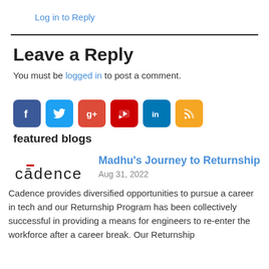Log in to Reply
Leave a Reply
You must be logged in to post a comment.
[Figure (infographic): Row of six social media icon buttons: Facebook (blue), Twitter (light blue), Google+ (red), YouTube (dark red), LinkedIn (blue), RSS (orange)]
featured blogs
[Figure (logo): Cadence logo in black text with a red accent over the letter a]
Madhu's Journey to Returnship
Aug 31, 2022
Cadence provides diversified opportunities to pursue a career in tech and our Returnship Program has been collectively successful in providing a means for engineers to re-enter the workforce after a career break. Our Returnship